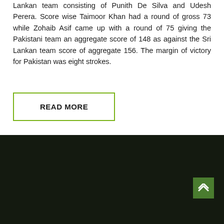Lankan team consisting of Punith De Silva and Udesh Perera. Score wise Taimoor Khan had a round of gross 73 while Zohaib Asif came up with a round of 75 giving the Pakistani team an aggregate score of 148 as against the Sri Lankan team score of aggregate 156. The margin of victory for Pakistan was eight strokes.
READ MORE
[Figure (logo): Pakistan Golf Federation circular logo with dark green background, PGF text, crescent and star, crossed golf clubs, and text 'PAKISTAN GOLF FEDERATION' around the border]